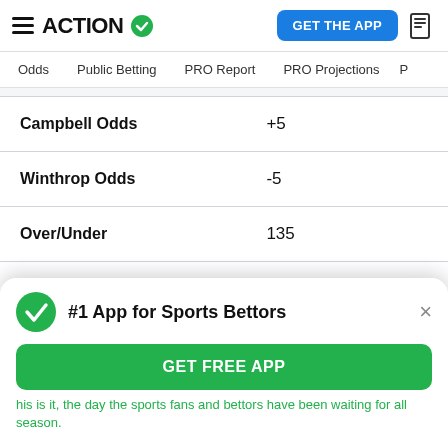ACTION - GET THE APP
Odds | Public Betting | PRO Report | PRO Projections
| Label | Value |
| --- | --- |
| Campbell Odds | +5 |
| Winthrop Odds | -5 |
| Over/Under | 135 |
| Date | Monday, Jan. 10 |
| Time | 5 p.m. ET |
#1 App for Sports Bettors
GET FREE APP
his is it, the day the sports fans and bettors have been waiting for all season.